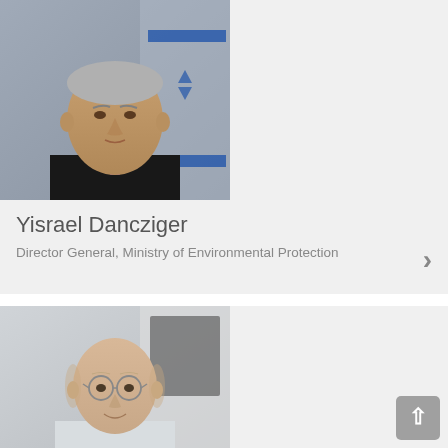[Figure (photo): Portrait photo of Yisrael Dancziger, a man in a dark suit with a purple tie, with an Israeli flag in the background. Gray/blue background.]
Yisrael Dancziger
Director General, Ministry of Environmental Protection
[Figure (photo): Portrait photo of a bald man with glasses, wearing a light shirt, smiling. Blurred office background.]